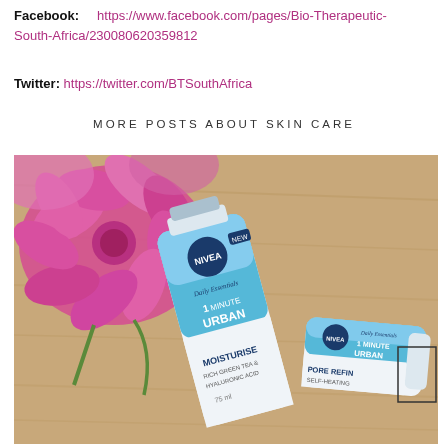Facebook: https://www.facebook.com/pages/Bio-Therapeutic-South-Africa/230080620359812
Twitter: https://twitter.com/BTSouthAfrica
MORE POSTS ABOUT SKIN CARE
[Figure (photo): Two NIVEA Daily Essentials 1 Minute Urban Detox Mask tubes — one Moisturise variant and one Pore Refine variant — placed on a wooden surface next to pink chrysanthemum flowers.]